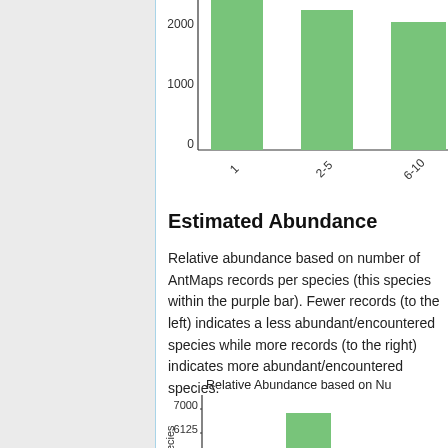[Figure (bar-chart): Partial bar chart (top portion visible)]
Estimated Abundance
Relative abundance based on number of AntMaps records per species (this species within the purple bar). Fewer records (to the left) indicates a less abundant/encountered species while more records (to the right) indicates more abundant/encountered species.
[Figure (bar-chart): Relative Abundance based on Nu]